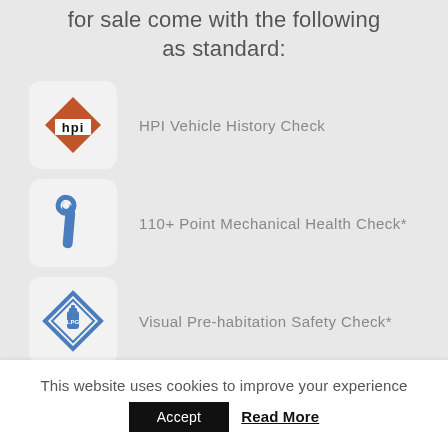for sale come with the following as standard:
HPI Vehicle History Check
110+ Point Mechanical Health Check*
Visual Pre-habitation Safety Check*
This website uses cookies to improve your experience
Accept
Read More